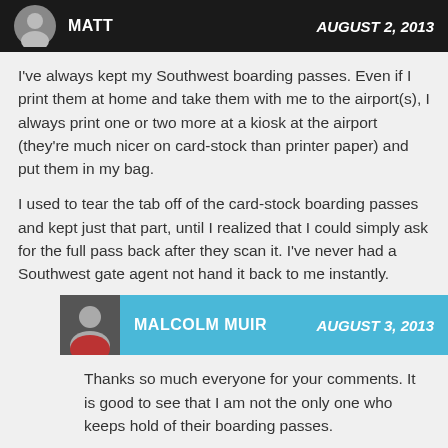MATT | AUGUST 2, 2013
I've always kept my Southwest boarding passes. Even if I print them at home and take them with me to the airport(s), I always print one or two more at a kiosk at the airport (they're much nicer on card-stock than printer paper) and put them in my bag.
I used to tear the tab off of the card-stock boarding passes and kept just that part, until I realized that I could simply ask for the full pass back after they scan it. I've never had a Southwest gate agent not hand it back to me instantly.
MALCOLM MUIR | AUGUST 3, 2013
Thanks so much everyone for your comments. It is good to see that I am not the only one who keeps hold of their boarding passes.
I wasn't aware that Business select fares got the first 15 spaces, I thought that was exclusively for the A Listers and that the Business select fares got it after